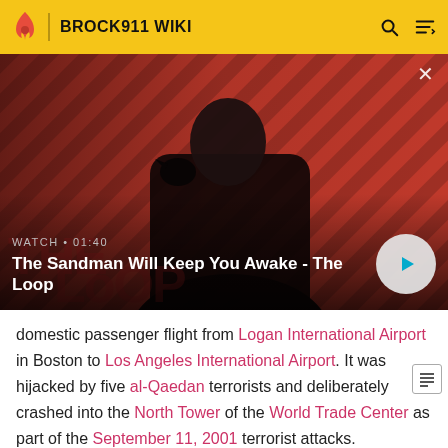BROCK911 WIKI
[Figure (screenshot): Video thumbnail showing a man in dark clothing with a black raven on his shoulder against a red and dark diagonal striped background. Video title overlay reads 'The Sandman Will Keep You Awake - The Loop' with WATCH • 01:40 label and a play button.]
domestic passenger flight from Logan International Airport in Boston to Los Angeles International Airport. It was hijacked by five al-Qaedan terrorists and deliberately crashed into the North Tower of the World Trade Center as part of the September 11, 2001 terrorist attacks.